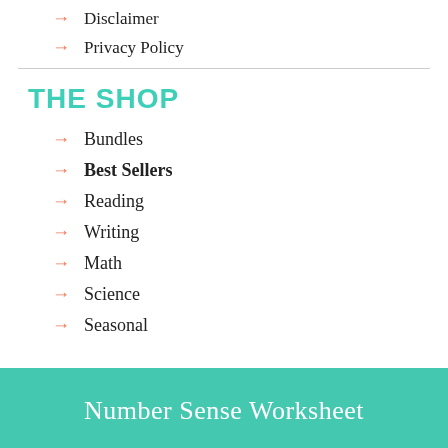→ Disclaimer
→ Privacy Policy
THE SHOP
→ Bundles
→ Best Sellers
→ Reading
→ Writing
→ Math
→ Science
→ Seasonal
Number Sense Worksheet